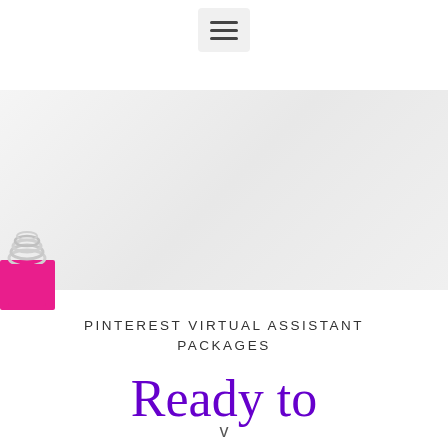[Figure (screenshot): Hamburger menu icon (three horizontal lines) in a light gray rounded rectangle, centered at the top of the page]
[Figure (photo): Partially visible hero image with a pink and white swirled object on the left side against a white/light gray background]
PINTEREST VIRTUAL ASSISTANT PACKAGES
Ready to
v